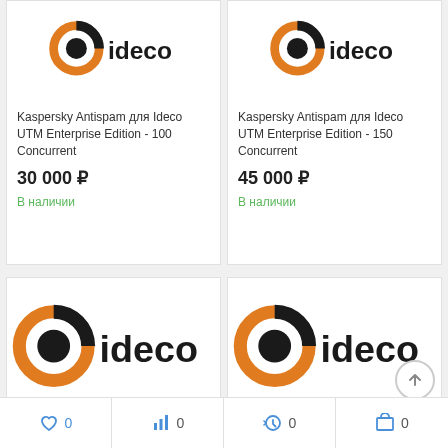[Figure (logo): Ideco logo (partial, top of card 1)]
Kaspersky Antispam для Ideco UTM Enterprise Edition - 100 Concurrent
30 000 ₽
В наличии
[Figure (logo): Ideco logo (partial, top of card 2)]
Kaspersky Antispam для Ideco UTM Enterprise Edition - 150 Concurrent
45 000 ₽
В наличии
[Figure (logo): Ideco full logo, bottom-left card]
[Figure (logo): Ideco full logo, bottom-right card (partially obscured by scroll button)]